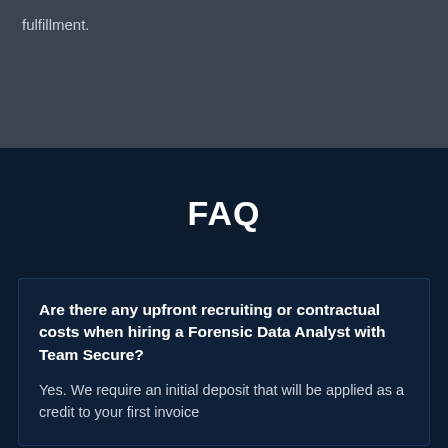fulfillment.
FAQ
Are there any upfront recruiting or contractual costs when hiring a Forensic Data Analyst with Team Secure?
Yes. We require an initial deposit that will be applied as a credit to your first invoice